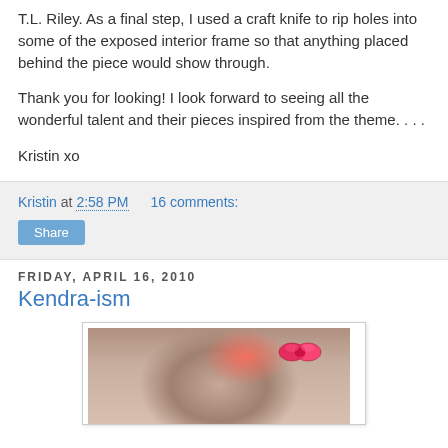T.L. Riley. As a final step, I used a craft knife to rip holes into some of the exposed interior frame so that anything placed behind the piece would show through.
Thank you for looking! I look forward to seeing all the wonderful talent and their pieces inspired from the theme. . . .
Kristin xo
Kristin at 2:58 PM    16 comments:
Share
Friday, April 16, 2010
Kendra-ism
[Figure (photo): Photo of a child with a pink and red bow/hair accessory in their hair, seen from the back/side]